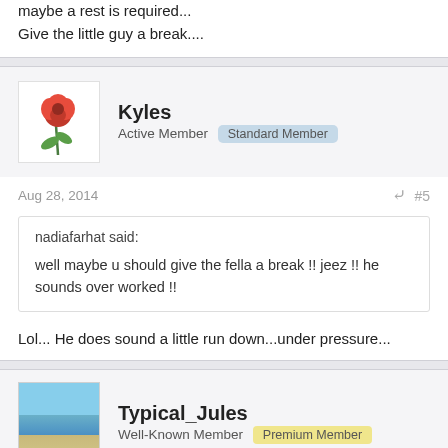maybe a rest is required...
Give the little guy a break....
Kyles
Active Member  Standard Member
Aug 28, 2014
#5
nadiafarhat said:

well maybe u should give the fella a break !! jeez !! he sounds over worked !!
Lol... He does sound a little run down...under pressure...
Typical_Jules
Well-Known Member  Premium Member
Aug 28, 2014